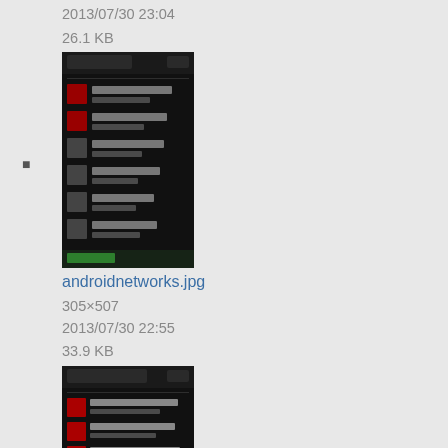2013/07/30 23:04
26.1 KB
[Figure (screenshot): Thumbnail of androidnetworks.jpg showing a dark Android network settings screen]
androidnetworks.jpg
305×507
2013/07/30 22:55
33.9 KB
[Figure (screenshot): Thumbnail of androidrecentconnections.jpg showing a dark Android recent connections screen]
androidrecentconnections.jpg
409×646
2013/07/30 22:58
52.5 KB
[Figure (screenshot): Partial thumbnail of another Android screen at bottom of page]